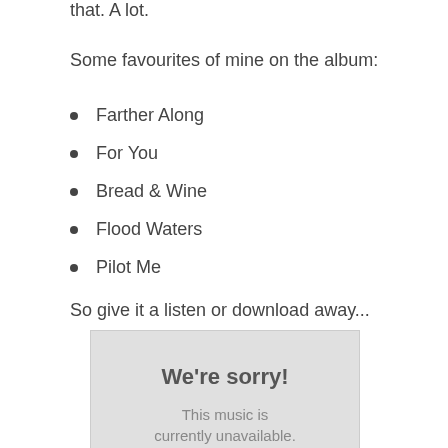that. A lot.
Some favourites of mine on the album:
Farther Along
For You
Bread & Wine
Flood Waters
Pilot Me
So give it a listen or download away...
[Figure (screenshot): A grey box with the text 'We're sorry! This music is currently unavailable.']